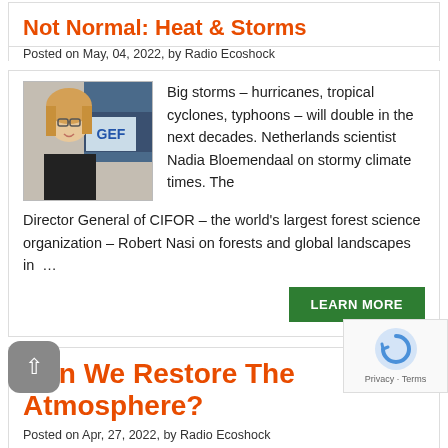Not Normal: Heat & Storms
Posted on May, 04, 2022, by Radio Ecoshock
[Figure (photo): Photo of Nadia Bloemendaal, a woman with glasses and long blonde hair, seated at a computer workstation]
Big storms – hurricanes, tropical cyclones, typhoons – will double in the next decades. Netherlands scientist Nadia Bloemendaal on stormy climate times. The Director General of CIFOR – the world's largest forest science organization – Robert Nasi on forests and global landscapes in …
LEARN MORE
Can We Restore The Atmosphere?
Posted on Apr, 27, 2022, by Radio Ecoshock